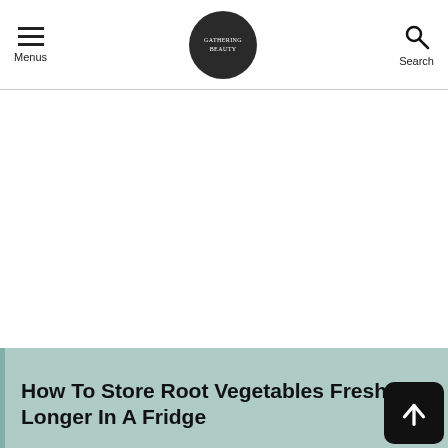Menus | [logo] | Search
[Figure (other): Large white/blank advertisement space]
How To Store Root Vegetables Fresh Longer In A Fridge
[Figure (photo): Thumbnail image of root vegetables]
How To Keep Root Vegetables Fresh Longer In A Fridge